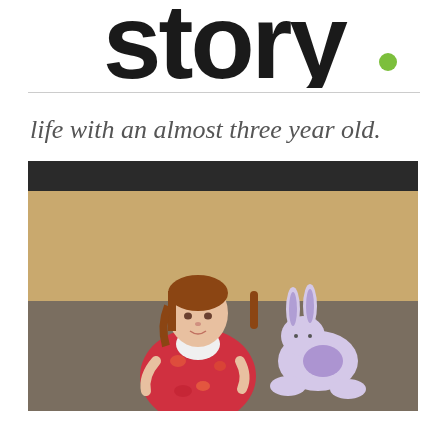[Figure (logo): Partial logo showing letters 'story.' with a green dot/accent mark on the letter 'o']
life with an almost three year old.
[Figure (photo): Young girl approximately 3 years old with brown hair, wearing a white shirt and colorful red/floral dress/jumper, sitting on the floor next to a stuffed purple bunny toy, with a couch/sofa visible in the background]